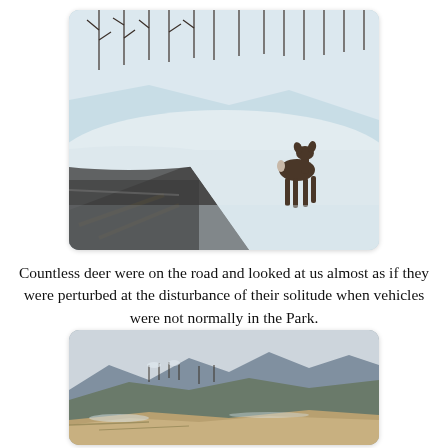[Figure (photo): A deer stands on a snowy roadside, looking toward the camera. A road with yellow center lines is visible in the foreground, and snow-covered trees line the hillside in the background.]
Countless deer were on the road and looked at us almost as if they were perturbed at the disturbance of their solitude when vehicles were not normally in the Park.
[Figure (photo): A mountain overlook scene in winter, with snow-dusted bare trees, rocky ledge in the foreground, and a panoramic view of blue-grey mountains and valleys under an overcast sky.]